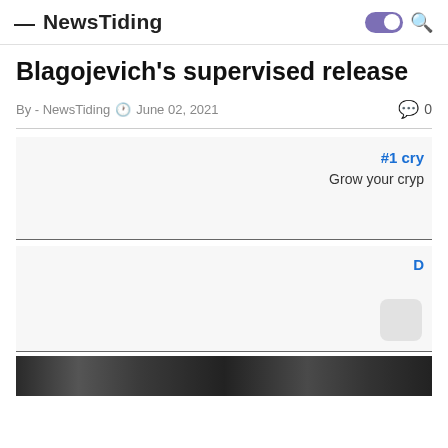— NewsTiding [toggle] [search]
Blagojevich's supervised release
By - NewsTiding  June 02, 2021  0
[Figure (other): Advertisement block with #1 cry... link and 'Grow your cryp' text]
[Figure (other): Advertisement block with partial link text D...]
[Figure (photo): Partial image strip visible at bottom of page]